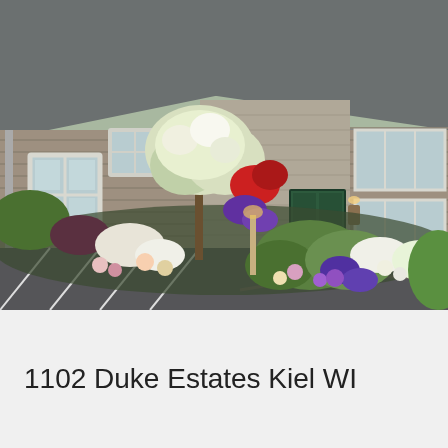[Figure (photo): Exterior photo of Duke Estates building in Kiel WI. A one-story tan/beige sided commercial or residential building with a gray shingle roof, multiple white-framed windows, a green front door entrance, and a large decorative garden featuring hydrangea trees, flowering shrubs in white, purple, and red, and a parking lot with white striping in the foreground.]
1102 Duke Estates Kiel WI